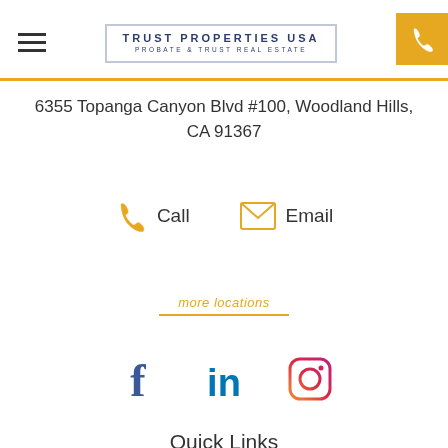TRUST PROPERTIES USA — PROBATE & TRUST REAL ESTATE
6355 Topanga Canyon Blvd #100, Woodland Hills, CA 91367
Call  Email
more locations
[Figure (other): Social media icons: Facebook, LinkedIn, Instagram]
Quick Links